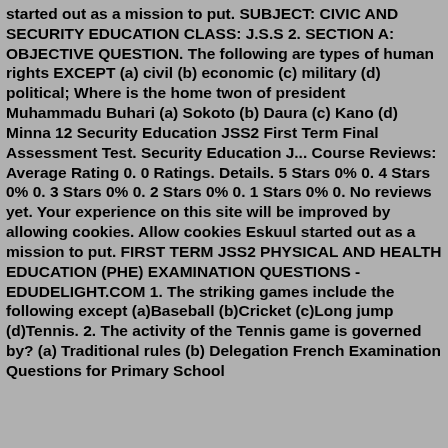started out as a mission to put. SUBJECT: CIVIC AND SECURITY EDUCATION CLASS: J.S.S 2. SECTION A: OBJECTIVE QUESTION. The following are types of human rights EXCEPT (a) civil (b) economic (c) military (d) political; Where is the home twon of president Muhammadu Buhari (a) Sokoto (b) Daura (c) Kano (d) Minna 12 Security Education JSS2 First Term Final Assessment Test. Security Education J... Course Reviews: Average Rating 0. 0 Ratings. Details. 5 Stars 0% 0. 4 Stars 0% 0. 3 Stars 0% 0. 2 Stars 0% 0. 1 Stars 0% 0. No reviews yet. Your experience on this site will be improved by allowing cookies. Allow cookies Eskuul started out as a mission to put. FIRST TERM JSS2 PHYSICAL AND HEALTH EDUCATION (PHE) EXAMINATION QUESTIONS - EDUDELIGHT.COM 1. The striking games include the following except (a)Baseball (b)Cricket (c)Long jump (d)Tennis. 2. The activity of the Tennis game is governed by? (a) Traditional rules (b) Delegation French Examination Questions for Primary School